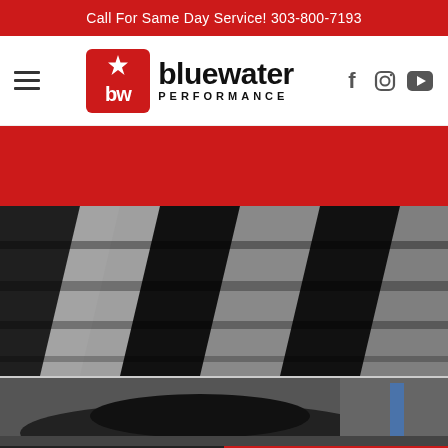Call For Same Day Service! 303-800-7193
[Figure (logo): Bluewater Performance logo with red square BW icon and social media icons (Facebook, Instagram, YouTube)]
[Figure (photo): Close-up black and white photo of a vehicle tire tread from below, showing the underside of a car on a lift]
[Figure (photo): Photo of a dark vehicle in an automotive garage/shop with a blue lift visible]
BOOK ONLINE
303-800-7193